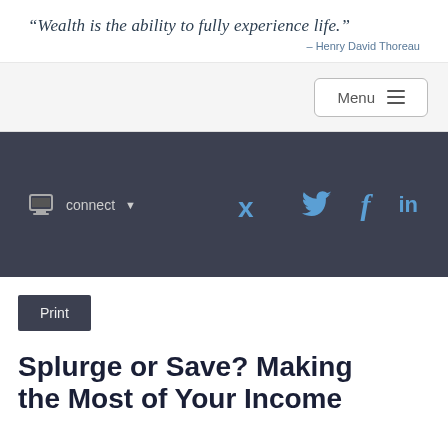“Wealth is the ability to fully experience life.” – Henry David Thoreau
Menu
[Figure (screenshot): Dark navigation banner with connect dropdown and social media icons for Twitter, Facebook, and LinkedIn]
Print
Splurge or Save? Making the Most of Your Income